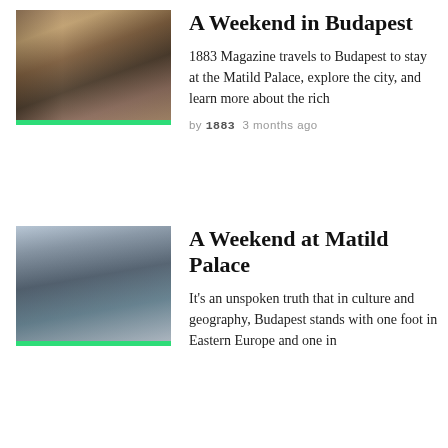[Figure (photo): Street view of Budapest with historic buildings and pedestrians]
A Weekend in Budapest
1883 Magazine travels to Budapest to stay at the Matild Palace, explore the city, and learn more about the rich
by 1883  3 months ago
[Figure (photo): Wide street view of Budapest with large historic buildings and open sky]
A Weekend at Matild Palace
It's an unspoken truth that in culture and geography, Budapest stands with one foot in Eastern Europe and one in